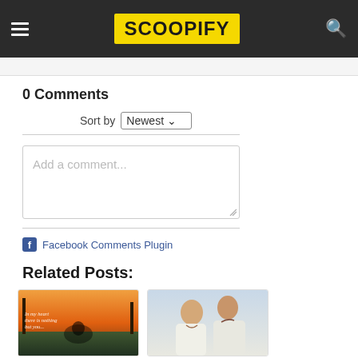SCOOPIFY
0 Comments
Sort by Newest
Add a comment...
Facebook Comments Plugin
Related Posts:
[Figure (photo): Romantic couple silhouette at sunset with handwritten text 'In my heart there is nothing but you...']
[Figure (photo): Young couple smiling and looking at something together, close portrait]